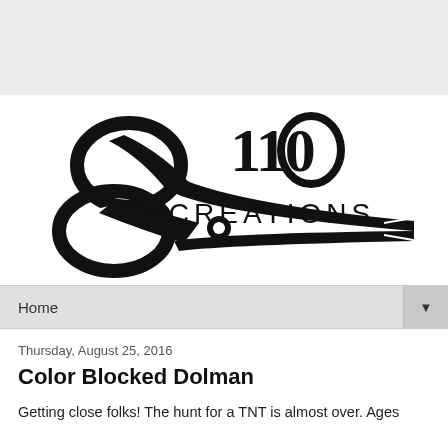[Figure (logo): 110 Creations logo with scissors illustration and text '110 CREATIONS']
Home
Thursday, August 25, 2016
Color Blocked Dolman
Getting close folks! The hunt for a TNT is almost over. Ages ago I was on a November 2016 and it was great to do list.